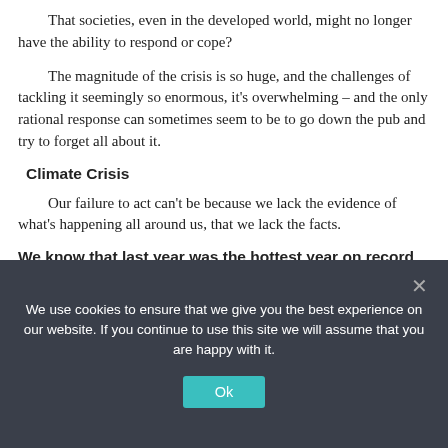That societies, even in the developed world, might no longer have the ability to respond or cope?
The magnitude of the crisis is so huge, and the challenges of tackling it seemingly so enormous, it's overwhelming – and the only rational response can sometimes seem to be to go down the pub and try to forget all about it.
Climate Crisis
Our failure to act can't be because we lack the evidence of what's happening all around us, that we lack the facts.
We know that last year was the hottest year on record
The previous record was set in 2015; the one before in 2014.
We use cookies to ensure that we give you the best experience on our website. If you continue to use this site we will assume that you are happy with it.